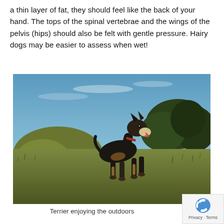a thin layer of fat, they should feel like the back of your hand. The tops of the spinal vertebrae and the wings of the pelvis (hips) should also be felt with gentle pressure. Hairy dogs may be easier to assess when wet!
[Figure (photo): A black and tan terrier dog standing outdoors in a grassy field, with blue sky and trees in the background. The dog is alert, facing right, and wearing a red collar.]
Terrier enjoying the outdoors